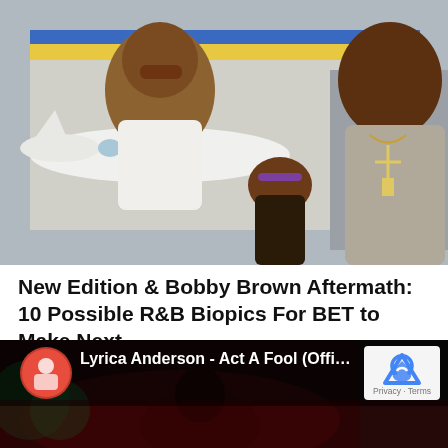[Figure (photo): A woman with sunglasses and curly hair wearing a white lace top, a young girl with a purple headband, and a man in a grey button-up shirt wearing a cross necklace, standing near a small aircraft.]
New Edition & Bobby Brown Aftermath: 10 Possible R&B Biopics For BET to Make Next
September 14, 2018
[Figure (screenshot): YouTube video widget showing 'Lyrica Anderson - Act A Fool (Official...' with a thumbnail of a performer in colorful stage lighting, a circular channel icon on the left, and a reCAPTCHA privacy widget on the right showing 'Privacy · Terms'.]